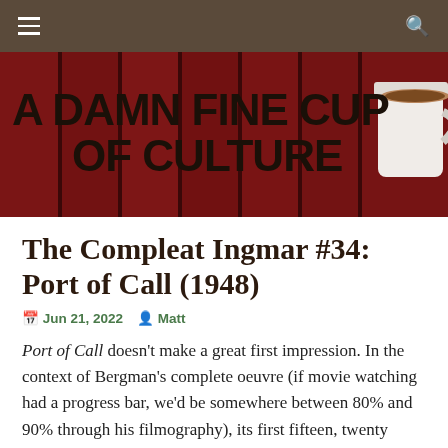A DAMN FINE CUP OF CULTURE
The Compleat Ingmar #34: Port of Call (1948)
Jun 21, 2022  Matt
Port of Call doesn't make a great first impression. In the context of Bergman's complete oeuvre (if movie watching had a progress bar, we'd be somewhere between 80% and 90% through his filmography), its first fifteen, twenty